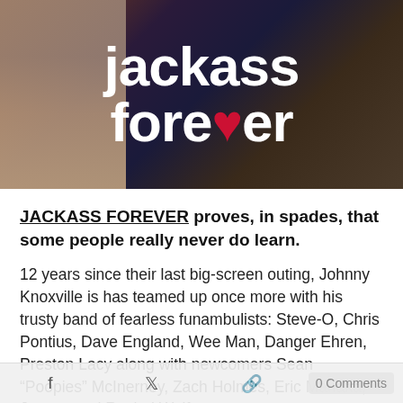[Figure (photo): Movie promotional image for 'Jackass Forever' showing cast members seated, with large white bold title text 'jackass forever' overlaid, with a red heart replacing the 'v' in 'forever']
JACKASS FOREVER proves, in spades, that some people really never do learn.
12 years since their last big-screen outing, Johnny Knoxville is has teamed up once more with his trusty band of fearless funambulists: Steve-O, Chris Pontius, Dave England, Wee Man, Danger Ehren, Preston Lacy along with newcomers Sean “Poopies” McInerney, Zach Holmes, Eric Manaka, Jasper, and Rachel Wolfson.